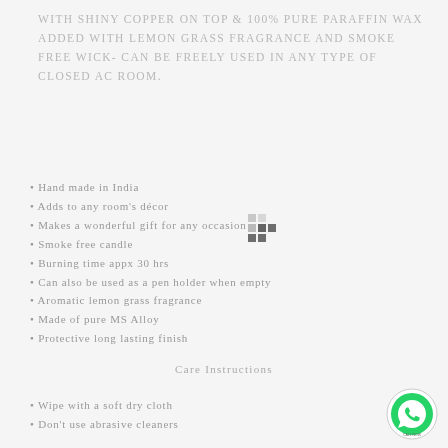WITH SHINY COPPER ON TOP & 100% PURE PARAFFIN WAX ADDED WITH Lemon grass fragrance AND SMOKE FREE WICK- CAN BE FREELY USED IN ANY TYPE OF CLOSED AC ROOM.
• Hand made in India
• Adds to any room's décor
• Makes a wonderful gift for any occasion
• Smoke free candle
• Burning time appx 30 hrs
• Can also be used as a pen holder when empty
• Aromatic lemon grass fragrance
• Made of pure MS Alloy
• Protective long lasting finish
Care Instructions
• Wipe with a soft dry cloth
• Don't use abrasive cleaners
[Figure (logo): WhatsApp logo circle icon in green]